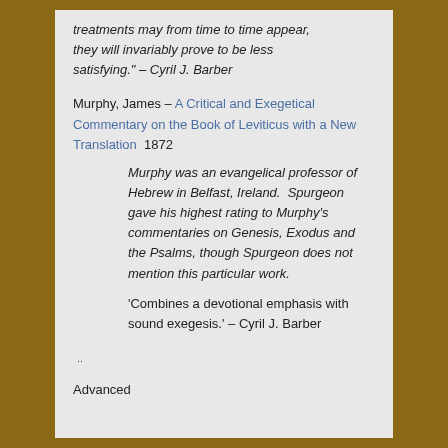treatments may from time to time appear, they will invariably prove to be less satisfying." – Cyril J. Barber
Murphy, James – A Critical and Exegetical Commentary on the Book of Leviticus with a New Translation  1872
Murphy was an evangelical professor of Hebrew in Belfast, Ireland.  Spurgeon gave his highest rating to Murphy's commentaries on Genesis, Exodus and the Psalms, though Spurgeon does not mention this particular work.
'Combines a devotional emphasis with sound exegesis.' – Cyril J. Barber
..
Advanced